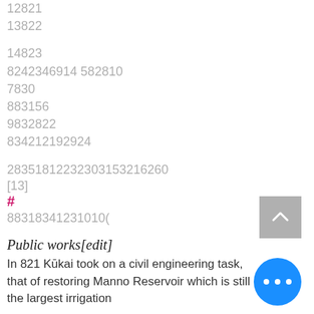12821
13822
14823
8242346914 582810
7830
883156
9832822
834212192924
28351812232303153216260
[13]
#
88318341231010(
Public works[edit]
In 821 Kūkai took on a civil engineering task, that of restoring Manno Reservoir which is still the largest irrigation